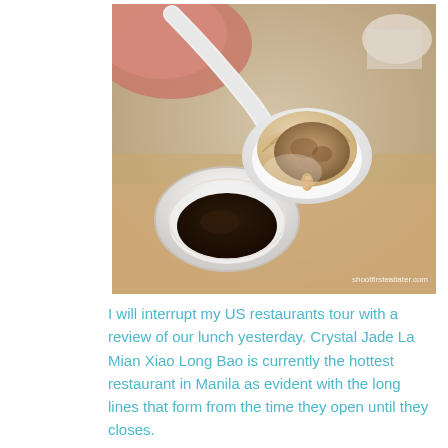[Figure (photo): Close-up photo of a dumpling (xiao long bao) cut open on a white ceramic spoon, revealing meat filling and broth inside. In the background is a small white bowl with dark dipping sauce (soy sauce with vinegar), all on a wooden surface. Watermark reads: shootfirsteatlater.com]
I will interrupt my US restaurants tour with a review of our lunch yesterday. Crystal Jade La Mian Xiao Long Bao is currently the hottest restaurant in Manila as evident with the long lines that form from the time they open until they closes.